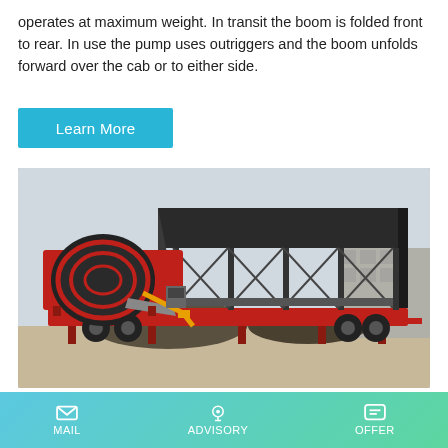operates at maximum weight. In transit the boom is folded front to rear. In use the pump uses outriggers and the boom unfolds forward over the cab or to either side.
Learn More
[Figure (photo): A red heavy-duty trailer with a large concrete mixer drum and an attached black steel aggregate bin/conveyor structure, parked outdoors on a concrete surface.]
A-1 Concrete Pumping Inc. |
MAIL  ADVISORY  OFFER